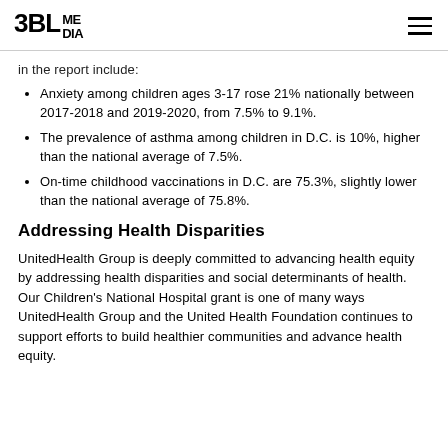3BL MEDIA
in the report include:
Anxiety among children ages 3-17 rose 21% nationally between 2017-2018 and 2019-2020, from 7.5% to 9.1%.
The prevalence of asthma among children in D.C. is 10%, higher than the national average of 7.5%.
On-time childhood vaccinations in D.C. are 75.3%, slightly lower than the national average of 75.8%.
Addressing Health Disparities
UnitedHealth Group is deeply committed to advancing health equity by addressing health disparities and social determinants of health. Our Children's National Hospital grant is one of many ways UnitedHealth Group and the United Health Foundation continues to support efforts to build healthier communities and advance health equity.